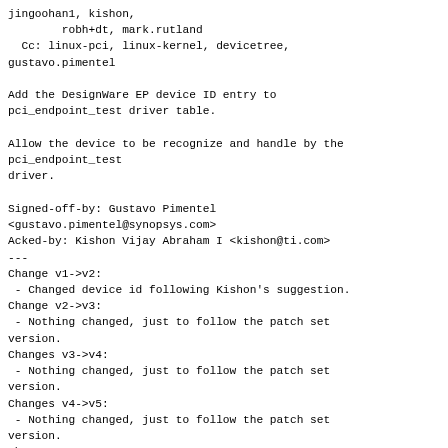jingoohan1, kishon,
        robh+dt, mark.rutland
  Cc: linux-pci, linux-kernel, devicetree,
gustavo.pimentel

Add the DesignWare EP device ID entry to
pci_endpoint_test driver table.

Allow the device to be recognize and handle by the
pci_endpoint_test
driver.

Signed-off-by: Gustavo Pimentel
<gustavo.pimentel@synopsys.com>
Acked-by: Kishon Vijay Abraham I <kishon@ti.com>
---
Change v1->v2:
 - Changed device id following Kishon's suggestion.
Change v2->v3:
 - Nothing changed, just to follow the patch set
version.
Changes v3->v4:
 - Nothing changed, just to follow the patch set
version.
Changes v4->v5:
 - Nothing changed, just to follow the patch set
version.
Changes v5->v6:
 - Reverted Kishon's suggestion by Bjorn request.
Changes v6->v7:
 - Nothing changed, just to follow the patch set